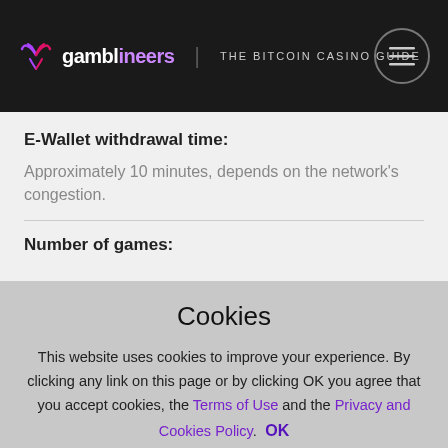gamblineers | THE BITCOIN CASINO GUIDE
E-Wallet withdrawal time:
Approximately 10 minutes, depends on the network's congestion.
Number of games:
Cookies
This website uses cookies to improve your experience. By clicking any link on this page or by clicking OK you agree that you accept cookies, the Terms of Use and the Privacy and Cookies Policy. OK